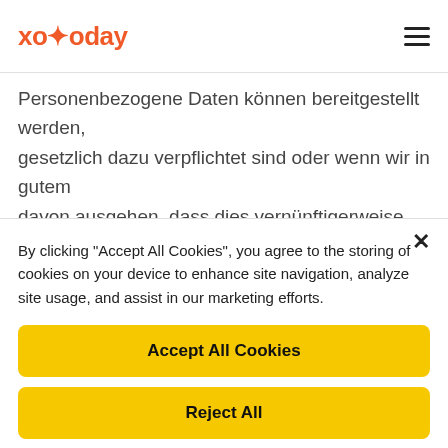xoxoday
Personenbezogene Daten können bereitgestellt werden, gesetzlich dazu verpflichtet sind oder wenn wir in gutem davon ausgehen, dass dies vernünftigerweise notwendig
1. Zur Beantwortung von Ansprüchen, die gegen Xoxoda
By clicking "Accept All Cookies", you agree to the storing of cookies on your device to enhance site navigation, analyze site usage, and assist in our marketing efforts.
Accept All Cookies
Reject All
Cookies Settings